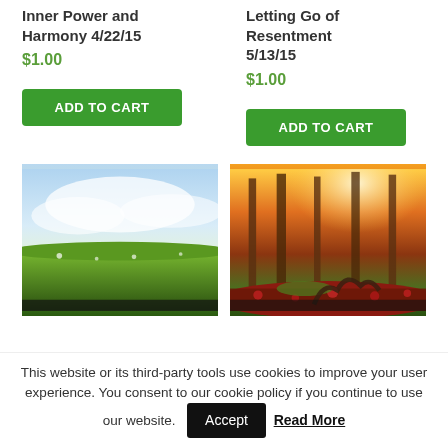Inner Power and Harmony 4/22/15
$1.00
ADD TO CART
Letting Go of Resentment 5/13/15
$1.00
ADD TO CART
[Figure (photo): Sunny meadow with wildflowers and dramatic cloudy sky]
[Figure (photo): Autumn forest with tall trees, red leaves on ground, and sunlight streaming through canopy, with a gnarled tree root or sculpture]
This website or its third-party tools use cookies to improve your user experience. You consent to our cookie policy if you continue to use our website.
Accept
Read More